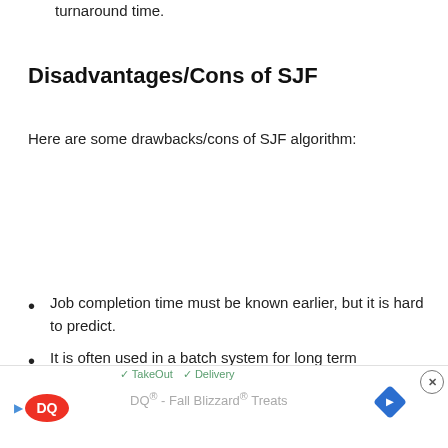turnaround time.
Disadvantages/Cons of SJF
Here are some drawbacks/cons of SJF algorithm:
Job completion time must be known earlier, but it is hard to predict.
It is often used in a batch system for long term scheduling.
[Figure (other): Advertisement banner for DQ (Dairy Queen) – Fall Blizzard Treats, showing DQ logo, navigation icon, TakeOut and Delivery indicators, and a close button.]